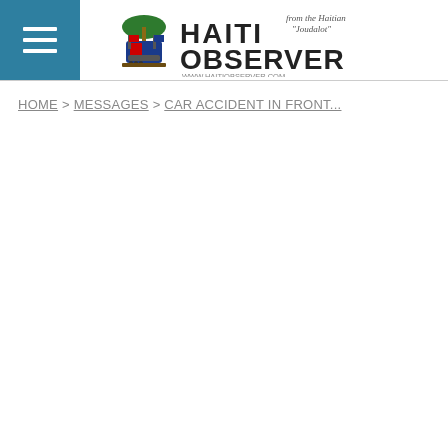Haiti Observer
HOME > MESSAGES > CAR ACCIDENT IN FRONT...